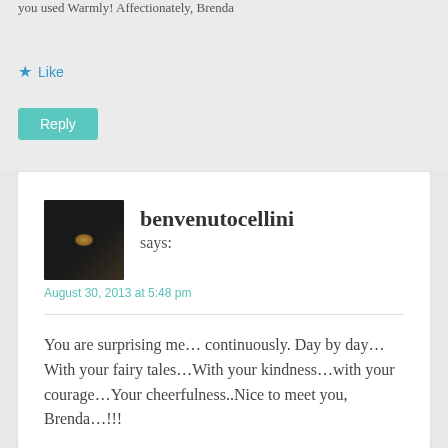you used  Warmly!   Affectionately, Brenda
★ Like
Reply
benvenutocellini says:
August 30, 2013 at 5:48 pm
You are surprising me… continuously. Day by day…With your fairy tales…With your kindness…with your courage…Your cheerfulness..Nice to meet you, Brenda…!!!